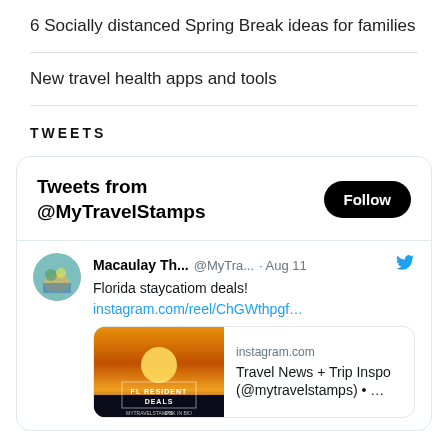6 Socially distanced Spring Break ideas for families
New travel health apps and tools
TWEETS
[Figure (screenshot): Twitter widget showing 'Tweets from @MyTravelStamps' with a Follow button, and a tweet by Macaulay Th... (@MyTra...) from Aug 11 reading 'Florida staycatiom deals!' with a link instagram.com/reel/ChGWthpgf... and an Instagram card showing a sunset image with 'FL RESIDENT DEALS' text, domain instagram.com, and title 'Travel News + Trip Inspo (@mytravelstamps) • ...']